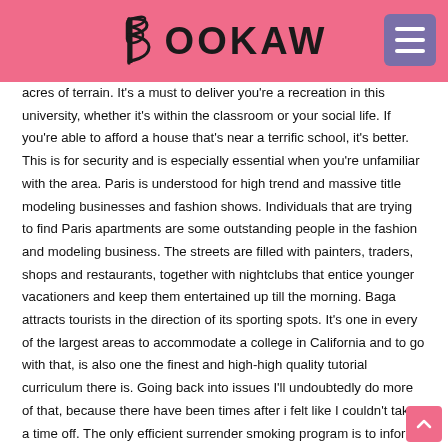BOOKAW
acres of terrain. It's a must to deliver you're a recreation in this university, whether it's within the classroom or your social life. If you're able to afford a house that's near a terrific school, it's better. This is for security and is especially essential when you're unfamiliar with the area. Paris is understood for high trend and massive title modeling businesses and fashion shows. Individuals that are trying to find Paris apartments are some outstanding people in the fashion and modeling business. The streets are filled with painters, traders, shops and restaurants, together with nightclubs that entice younger vacationers and keep them entertained up till the morning. Baga attracts tourists in the direction of its sporting spots. It's one in every of the largest areas to accommodate a college in California and to go with that, is also one the finest and high-high quality tutorial curriculum there is. Going back into issues I'll undoubtedly do more of that, because there have been times after i felt like I couldn't take a time off. The only efficient surrender smoking program is to inform yourself that, to any extent further, I will maybe not smoke. Smoking termination applications are usually not the norm. The